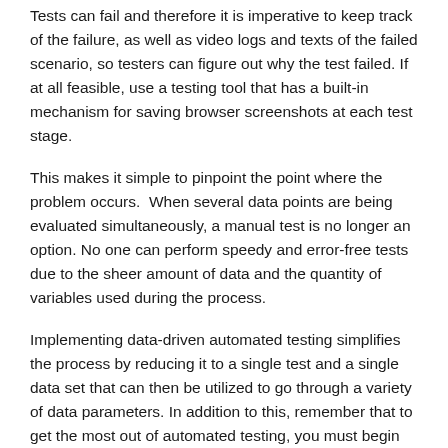Tests can fail and therefore it is imperative to keep track of the failure, as well as video logs and texts of the failed scenario, so testers can figure out why the test failed. If at all feasible, use a testing tool that has a built-in mechanism for saving browser screenshots at each test stage.
This makes it simple to pinpoint the point where the problem occurs.  When several data points are being evaluated simultaneously, a manual test is no longer an option. No one can perform speedy and error-free tests due to the sheer amount of data and the quantity of variables used during the process.
Implementing data-driven automated testing simplifies the process by reducing it to a single test and a single data set that can then be utilized to go through a variety of data parameters. In addition to this, remember that to get the most out of automated testing, you must begin testing earlier in the sprint development lifecycle.